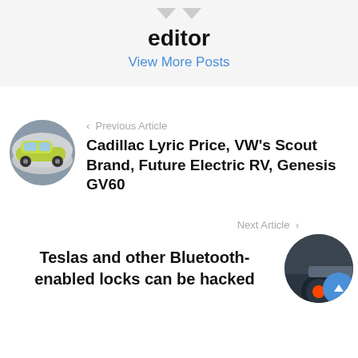editor
View More Posts
< Previous Article
[Figure (photo): Circular thumbnail of a yellow/green Cadillac Lyric electric car in a tunnel setting]
Cadillac Lyric Price, VW's Scout Brand, Future Electric RV, Genesis GV60
Next Article >
Teslas and other Bluetooth-enabled locks can be hacked
[Figure (photo): Circular thumbnail of a dark blue/grey car showing wheel and body panel detail]